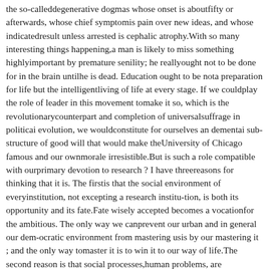the so-calleddegenerative dogmas whose onset is aboutfifty or afterwards, whose chief symptomis pain over new ideas, and whose indicatedresult unless arrested is cephalic atrophy.With so many interesting things happening,a man is likely to miss something highlyimportant by premature senility; he reallyought not to be done for in the brain untilhe is dead. Education ought to be nota preparation for life but the intelligentliving of life at every stage. If we couldplay the role of leader in this movement tomake it so, which is the revolutionarycounterpart and completion of universalsuffrage in politicai evolution, we wouldconstitute for ourselves an dementai sub- structure of good will that would make theUniversity of Chicago famous and our ownmorale irresistible.But is such a role compatible with ourprimary devotion to research ? I have threereasons for thinking that it is. The firstis that the social environment of everyinstitution, not excepting a research institu-tion, is both its opportunity and its fate.Fate wisely accepted becomes a vocationfor the ambitious. The only way we canprevent our urban and in general our dem-ocratic environment from mastering usis by our mastering it ; and the only way tomaster it is to win it to our way of life.The second reason is that social processes,human problems, are themselves just as validdata for scientific research as any other, al-beit more perplexing. If science cannoteventuate as social control, its power maynot improbably eventuate as social suicide»The third reason is that education is afterali not the transfer of materials from mindto